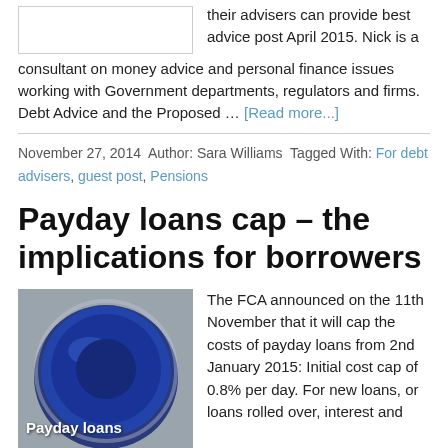[Figure (photo): Placeholder image box at top left, white background with grey border]
their advisers can provide best advice post April 2015. Nick is a consultant on money advice and personal finance issues working with Government departments, regulators and firms. Debt Advice and the Proposed … [Read more...]
November 27, 2014 Author: Sara Williams Tagged With: For debt advisers, guest post, Pensions
Payday loans cap – the implications for borrowers
[Figure (photo): Photo of a blue bottle cap/lid on metallic surface with text 'Payday loans' overlaid in white]
The FCA announced on the 11th November that it will cap the costs of payday loans from 2nd January 2015: Initial cost cap of 0.8% per day. For new loans, or loans rolled over, interest and